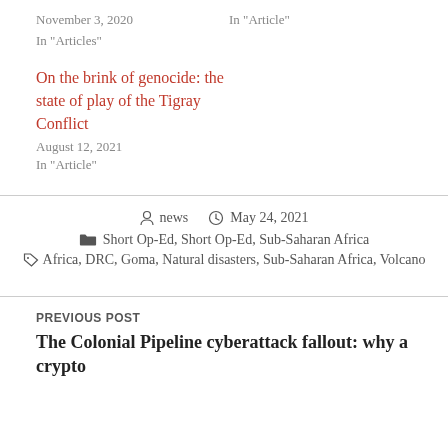November 3, 2020
In "Article"
In "Articles"
On the brink of genocide: the state of play of the Tigray Conflict
August 12, 2021
In "Article"
news   May 24, 2021
Short Op-Ed, Short Op-Ed, Sub-Saharan Africa
Africa, DRC, Goma, Natural disasters, Sub-Saharan Africa, Volcano
PREVIOUS POST
The Colonial Pipeline cyberattack fallout: why a crypto